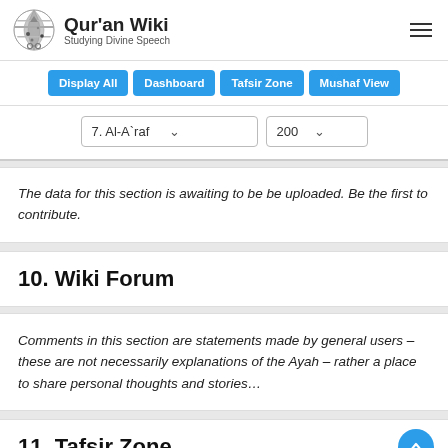Qur'an Wiki — Studying Divine Speech
Display All  Dashboard  Tafsir Zone  Mushaf View
7. Al-A`raf   200
The data for this section is awaiting to be be uploaded. Be the first to contribute.
10. Wiki Forum
Comments in this section are statements made by general users – these are not necessarily explanations of the Ayah – rather a place to share personal thoughts and stories…
11. Tafsir Zone